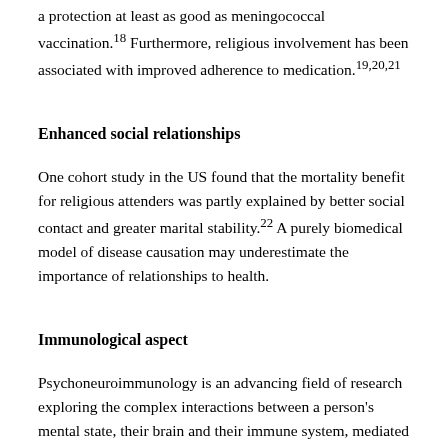a protection at least as good as meningococcal vaccination.18 Furthermore, religious involvement has been associated with improved adherence to medication.19,20,21
Enhanced social relationships
One cohort study in the US found that the mortality benefit for religious attenders was partly explained by better social contact and greater marital stability.22 A purely biomedical model of disease causation may underestimate the importance of relationships to health.
Immunological aspect
Psychoneuroimmunology is an advancing field of research exploring the complex interactions between a person's mental state, their brain and their immune system, mediated by a range of mechanisms including stress hormones such as cartisol. Studies have linked emotional stress to development of the common cold23 and to rates of infectious disease more generally. Others have linked religious